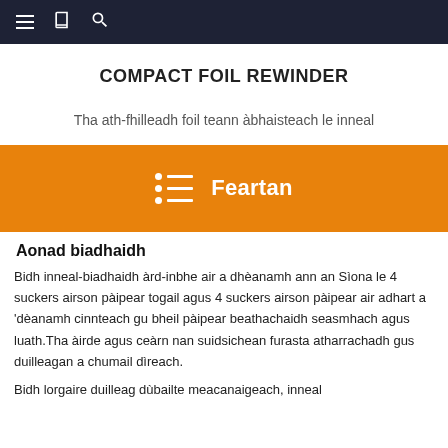≡ 📖 🔍
COMPACT FOIL REWINDER
Tha ath-fhilleadh foil teann àbhaisteach le inneal
Feartan
Aonad biadhaidh
Bidh inneal-biadhaidh àrd-inbhe air a dhèanamh ann an Sìona le 4 suckers airson pàipear togail agus 4 suckers airson pàipear air adhart a 'dèanamh cinnteach gu bheil pàipear beathachaidh seasmhach agus luath.Tha àirde agus ceàrn nan suidsichean furasta atharrachadh gus duilleagan a chumail dìreach.
Bidh lorgaire duilleag dùbailte meacanaigeach, inneal